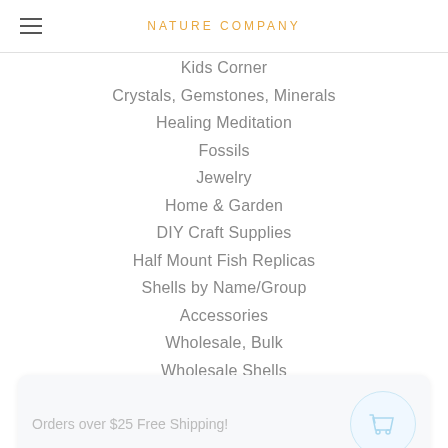NATURE COMPANY
Kids Corner
Crystals, Gemstones, Minerals
Healing Meditation
Fossils
Jewelry
Home & Garden
DIY Craft Supplies
Half Mount Fish Replicas
Shells by Name/Group
Accessories
Wholesale, Bulk
Wholesale Shells
Orders over $25 Free Shipping!
Gemstone Factory
Rockman